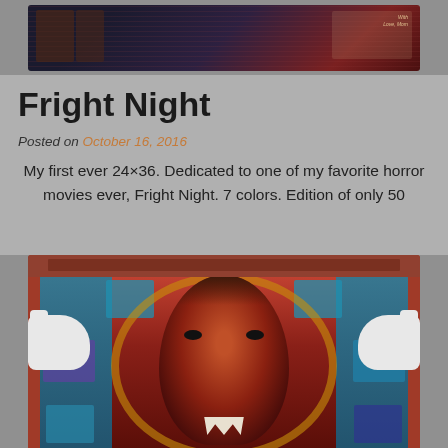[Figure (illustration): Top portion of a Fright Night movie poster art banner, showing dark horror illustration with red and dark tones]
Fright Night
Posted on October 16, 2016
My first ever 24×36. Dedicated to one of my favorite horror movies ever, Fright Night. 7 colors. Edition of only 50
[Figure (photo): Photo of someone holding a Fright Night screen print poster featuring a central werewolf/vampire face surrounded by teal character portraits in a circular mandala-like design, with red and blue color scheme]